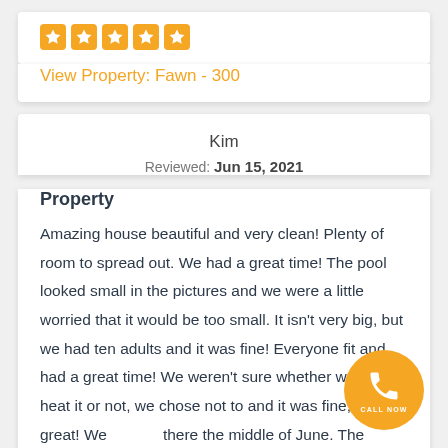[Figure (other): Five orange star rating icons in a row]
View Property: Fawn - 300
Kim
Reviewed: Jun 15, 2021
Property
Amazing house beautiful and very clean! Plenty of room to spread out. We had a great time! The pool looked small in the pictures and we were a little worried that it would be too small. It isn't very big, but we had ten adults and it was fine! Everyone fit and had a great time! We weren't sure whether we should heat it or not, we chose not to and it was fine, felt great! We there the middle of June. The house was a litt out than we thought but there's a grocery store the road and a couple of good restaurants nearby. If
[Figure (other): Orange circular call now button with phone icon]